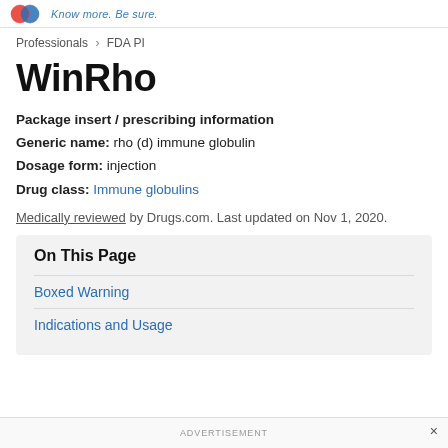Know more. Be sure.
Professionals > FDA PI
WinRho
Package insert / prescribing information
Generic name: rho (d) immune globulin
Dosage form: injection
Drug class: Immune globulins
Medically reviewed by Drugs.com. Last updated on Nov 1, 2020.
On This Page
Boxed Warning
Indications and Usage
ADVERTISEMENT